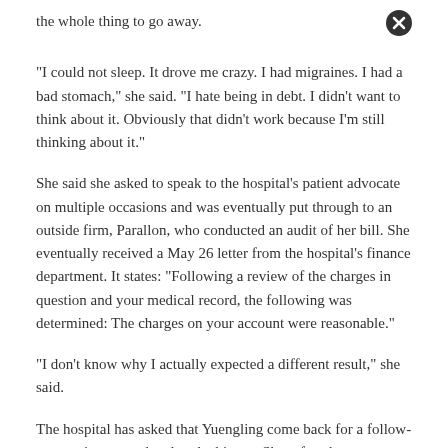the whole thing to go away.
"I could not sleep. It drove me crazy. I had migraines. I had a bad stomach," she said. "I hate being in debt. I didn't want to think about it. Obviously that didn't work because I'm still thinking about it."
She said she asked to speak to the hospital's patient advocate on multiple occasions and was eventually put through to an outside firm, Parallon, who conducted an audit of her bill. She eventually received a May 26 letter from the hospital's finance department. It states: "Following a review of the charges in question and your medical record, the following was determined: The charges on your account were reasonable."
"I don't know why I actually expected a different result," she said.
The hospital has asked that Yuengling come back for a follow-up appointment related to the biopsy. She refused.
Harlow Sumerford, a spokesman for HCA Healthcare, told KHN in an email